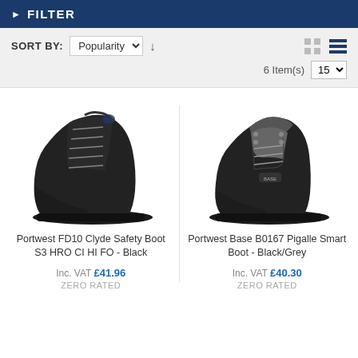FILTER
SORT BY: Popularity   6 Item(s)   15
[Figure (photo): Black lace-up safety boot (Portwest FD10 Clyde Safety Boot S3 HRO CI HI FO - Black)]
[Figure (photo): Black mid-cut safety boot (Portwest Base B0167 Pigalle Smart Boot - Black/Grey)]
Portwest FD10 Clyde Safety Boot S3 HRO CI HI FO - Black
Inc. VAT £41.96
ZERO RATED
Portwest Base B0167 Pigalle Smart Boot - Black/Grey
Inc. VAT £40.30
ZERO RATED